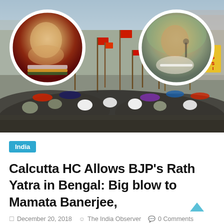[Figure (photo): News article hero image showing a large political rally crowd with red flags, with circular inset portraits of two politicians — Amit Shah (left) and Mamata Banerjee (right)]
India
Calcutta HC Allows BJP's Rath Yatra in Bengal: Big blow to Mamata Banerjee,
December 20, 2018  The India Observer  0 Comments